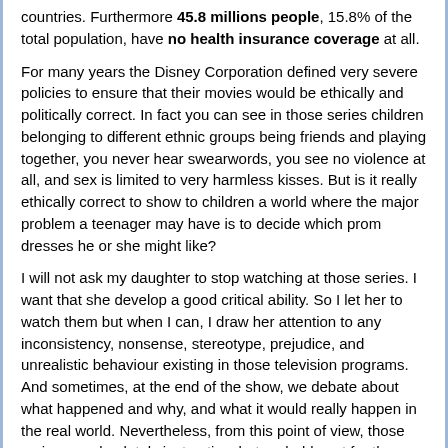countries. Furthermore 45.8 millions people, 15.8% of the total population, have no health insurance coverage at all.
For many years the Disney Corporation defined very severe policies to ensure that their movies would be ethically and politically correct. In fact you can see in those series children belonging to different ethnic groups being friends and playing together, you never hear swearwords, you see no violence at all, and sex is limited to very harmless kisses. But is it really ethically correct to show to children a world where the major problem a teenager may have is to decide which prom dresses he or she might like?
I will not ask my daughter to stop watching at those series. I want that she develop a good critical ability. So I let her to watch them but when I can, I draw her attention to any inconsistency, nonsense, stereotype, prejudice, and unrealistic behaviour existing in those television programs. And sometimes, at the end of the show, we debate about what happened and why, and what it would really happen in the real world. Nevertheless, from this point of view, those series are absolutely instructive, but probably not for the same reasons the Disney’s scriptwriters intended them.
Articoli correlati:
1. World 2.0
2. iPhone 3G prices all over the world
Posted by Dario de Judicibus on mercoledì, 6 agosto 2008.